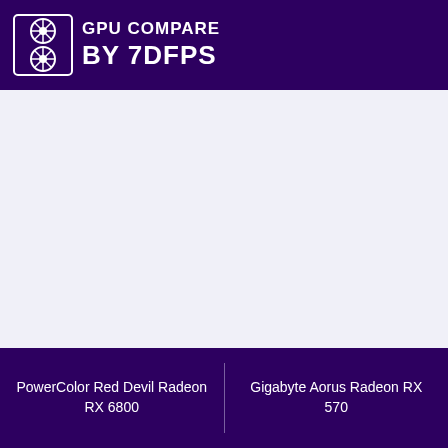GPU COMPARE BY 7DFPS
[Figure (other): Large blank lavender/light purple content area for GPU comparison]
PowerColor Red Devil Radeon RX 6800 | Gigabyte Aorus Radeon RX 570